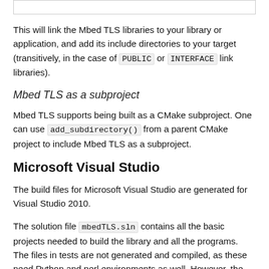This will link the Mbed TLS libraries to your library or application, and add its include directories to your target (transitively, in the case of PUBLIC or INTERFACE link libraries).
Mbed TLS as a subproject
Mbed TLS supports being built as a CMake subproject. One can use add_subdirectory() from a parent CMake project to include Mbed TLS as a subproject.
Microsoft Visual Studio
The build files for Microsoft Visual Studio are generated for Visual Studio 2010.
The solution file mbedTLS.sln contains all the basic projects needed to build the library and all the programs. The files in tests are not generated and compiled, as these need Python and perl environments as well. However, the selftest program